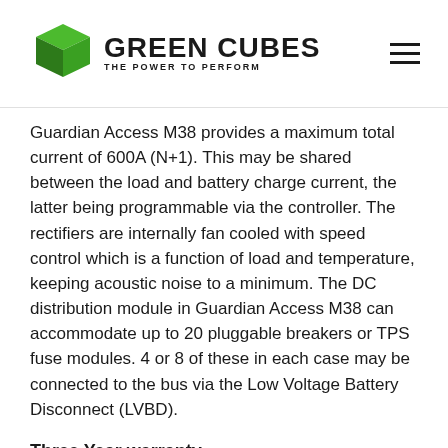GREEN CUBES — THE POWER TO PERFORM
Guardian Access M38 provides a maximum total current of 600A (N+1). This may be shared between the load and battery charge current, the latter being programmable via the controller. The rectifiers are internally fan cooled with speed control which is a function of load and temperature, keeping acoustic noise to a minimum. The DC distribution module in Guardian Access M38 can accommodate up to 20 pluggable breakers or TPS fuse modules. 4 or 8 of these in each case may be connected to the bus via the Low Voltage Battery Disconnect (LVBD).
Three Year warranty
Features and Options